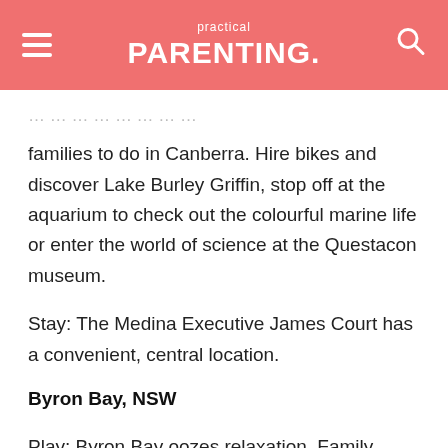practical PARENTING.
families to do in Canberra. Hire bikes and discover Lake Burley Griffin, stop off at the aquarium to check out the colourful marine life or enter the world of science at the Questacon museum.
Stay: The Medina Executive James Court has a convenient, central location.
Byron Bay, NSW
Play: Byron Bay oozes relaxation. Family breaks here usually revolve around the beach, playing in the sand and soaking up the...